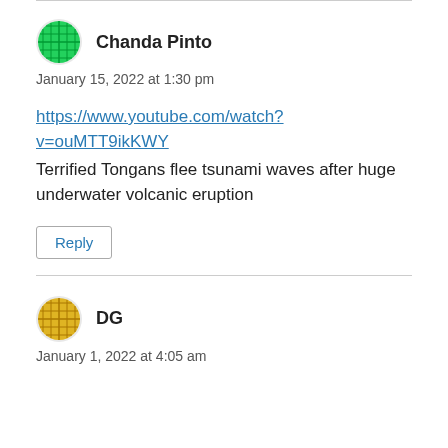Chanda Pinto
January 15, 2022 at 1:30 pm
https://www.youtube.com/watch?v=ouMTT9ikKWY
Terrified Tongans flee tsunami waves after huge underwater volcanic eruption
Reply
DG
January 1, 2022 at 4:05 am